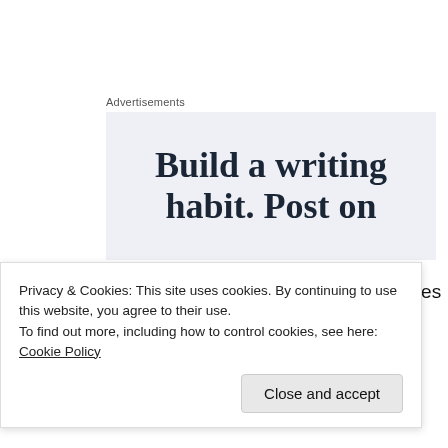Advertisements
[Figure (infographic): Advertisement banner with light blue-gray background showing large serif text: 'Build a writing habit. Post on']
On these days before you leave take 2 minutes to think... had that day. If it helps write it down.
Privacy & Cookies: This site uses cookies. By continuing to use this website, you agree to their use. To find out more, including how to control cookies, see here: Cookie Policy
Close and accept